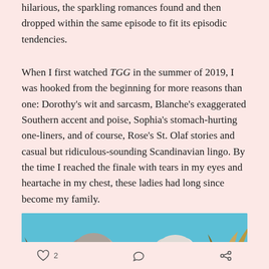hilarious, the sparkling romances found and then dropped within the same episode to fit its episodic tendencies.
When I first watched TGG in the summer of 2019, I was hooked from the beginning for more reasons than one: Dorothy's wit and sarcasm, Blanche's exaggerated Southern accent and poise, Sophia's stomach-hurting one-liners, and of course, Rose's St. Olaf stories and casual but ridiculous-sounding Scandinavian lingo. By the time I reached the finale with tears in my eyes and heartache in my chest, these ladies had long since become my family.
[Figure (photo): Photo of two elderly women with grey/white hair against a bright teal/blue background, with decorative plant elements visible]
2  [comment icon]  [share icon]